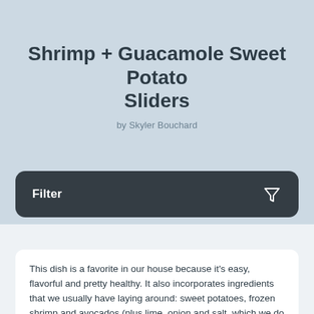Shrimp + Guacamole Sweet Potato Sliders
by Skyler Bouchard
Filter
This dish is a favorite in our house because it's easy, flavorful and pretty healthy. It also incorporates ingredients that we usually have laying around: sweet potatoes, frozen shrimp and avocados (plus lime, onion and salt, which we do usually have handy.)
The entire dish takes about 30 minutes to make, and that includes